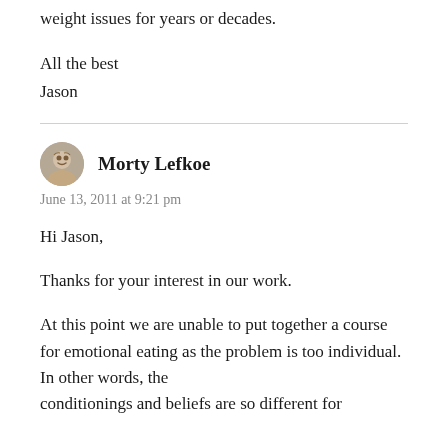weight issues for years or decades.
All the best
Jason
Morty Lefkoe
June 13, 2011 at 9:21 pm
Hi Jason,
Thanks for your interest in our work.
At this point we are unable to put together a course for emotional eating as the problem is too individual. In other words, the conditionings and beliefs are so different for